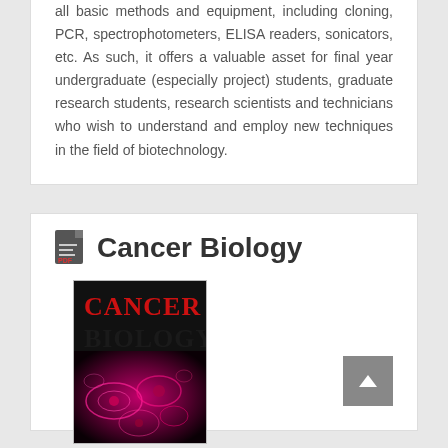all basic methods and equipment, including cloning, PCR, spectrophotometers, ELISA readers, sonicators, etc. As such, it offers a valuable asset for final year undergraduate (especially project) students, graduate research students, research scientists and technicians who wish to understand and employ new techniques in the field of biotechnology.
Cancer Biology
[Figure (photo): Book cover of Cancer Biology Fourth Edition showing fluorescent microscopy image of cells with red/magenta coloring on dark background]